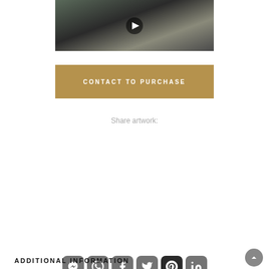[Figure (photo): Video thumbnail of animal sculptures (dark figures) with a circular play button overlay]
CONTACT TO PURCHASE
Share artwork:
[Figure (infographic): Row of social media share icons: Messenger, WhatsApp, Facebook, Twitter, Pinterest (dark), LinkedIn, and a second row with Email and Link/copy icons]
ADDITIONAL INFORMATION